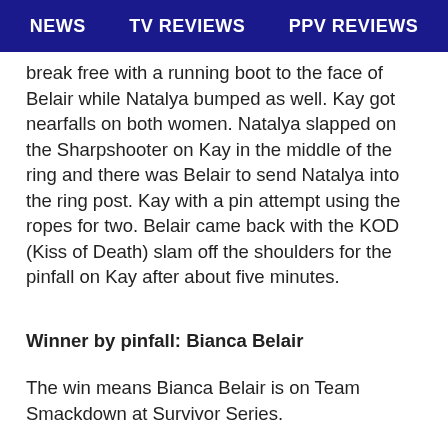NEWS   TV REVIEWS   PPV REVIEWS
break free with a running boot to the face of Belair while Natalya bumped as well. Kay got nearfalls on both women. Natalya slapped on the Sharpshooter on Kay in the middle of the ring and there was Belair to send Natalya into the ring post. Kay with a pin attempt using the ropes for two. Belair came back with the KOD (Kiss of Death) slam off the shoulders for the pinfall on Kay after about five minutes.
Winner by pinfall: Bianca Belair
The win means Bianca Belair is on Team Smackdown at Survivor Series.
Analysis: ** It was fine for a shorter match with Belair as the obvious winner since she's a star on the rise. I liked the Sharpshooter spot by Natalya with